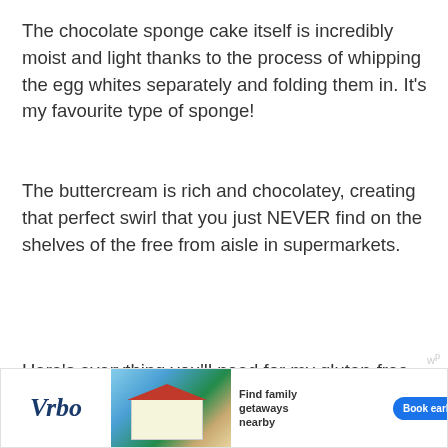The chocolate sponge cake itself is incredibly moist and light thanks to the process of whipping the egg whites separately and folding them in. It's my favourite type of sponge!
The buttercream is rich and chocolatey, creating that perfect swirl that you just NEVER find on the shelves of the free from aisle in supermarkets.
Then, simply top with smashed mini eggs and rejoice. The chunky texture against the fluffy swiss roll just pairs so effortlessly.
Here's everything you'll need for my gluten-free Mini Easter…
[Figure (screenshot): Vrbo advertisement banner with logo, beach house image, 'Find family getaways nearby' text, and 'Book early' button]